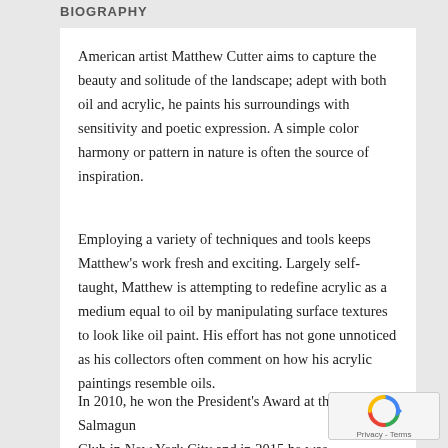BIOGRAPHY
American artist Matthew Cutter aims to capture the beauty and solitude of the landscape; adept with both oil and acrylic, he paints his surroundings with sensitivity and poetic expression. A simple color harmony or pattern in nature is often the source of inspiration.
Employing a variety of techniques and tools keeps Matthew’s work fresh and exciting. Largely self-taught, Matthew is attempting to redefine acrylic as a medium equal to oil by manipulating surface textures to look like oil paint. His effort has not gone unnoticed as his collectors often comment on how his acrylic paintings resemble oils.
In 2010, he won the President’s Award at the Salmagun Club in New York City and in 2015 he was featured a…